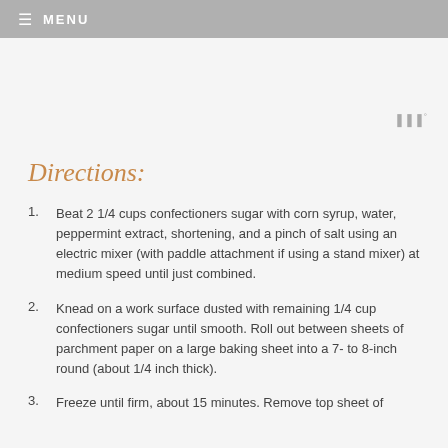≡ MENU
Directions:
Beat 2 1/4 cups confectioners sugar with corn syrup, water, peppermint extract, shortening, and a pinch of salt using an electric mixer (with paddle attachment if using a stand mixer) at medium speed until just combined.
Knead on a work surface dusted with remaining 1/4 cup confectioners sugar until smooth. Roll out between sheets of parchment paper on a large baking sheet into a 7- to 8-inch round (about 1/4 inch thick).
Freeze until firm, about 15 minutes. Remove top sheet of